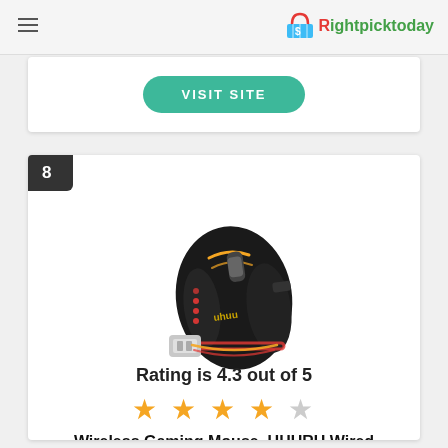Rightpicktoday
[Figure (other): VISIT SITE button (teal rounded pill button)]
8
[Figure (photo): UHURU wireless gaming mouse (black with RGB lighting) with USB dongle]
Rating is 4.3 out of 5
★ ★ ★ ★ ☆
Wireless Gaming Mouse, UHURU Wired